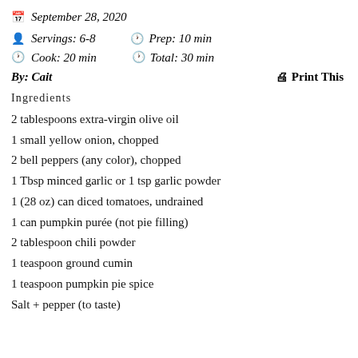September 28, 2020
Servings: 6-8   Prep: 10 min
Cook: 20 min   Total: 30 min
By: Cait   Print This
Ingredients
2 tablespoons extra-virgin olive oil
1 small yellow onion, chopped
2 bell peppers (any color), chopped
1 Tbsp minced garlic or 1 tsp garlic powder
1 (28 oz) can diced tomatoes, undrained
1 can pumpkin purée (not pie filling)
2 tablespoon chili powder
1 teaspoon ground cumin
1 teaspoon pumpkin pie spice
Salt + pepper (to taste)